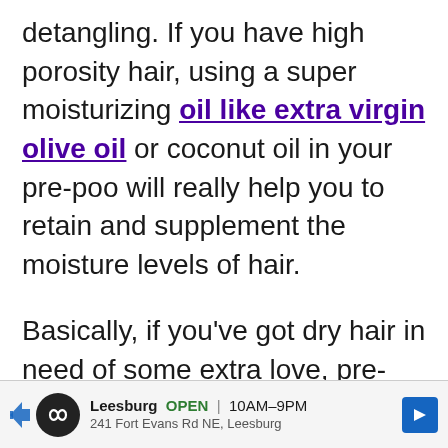detangling. If you have high porosity hair, using a super moisturizing oil like extra virgin olive oil or coconut oil in your pre-poo will really help you to retain and supplement the moisture levels of hair.
Basically, if you've got dry hair in need of some extra love, pre-pooing is likely for you.
[Figure (other): Advertisement banner for a Leesburg store: logo with infinity symbol on black circle, store name 'Leesburg', status 'OPEN', hours '10AM-9PM', address '241 Fort Evans Rd NE, Leesburg', blue navigation arrow icon on right.]